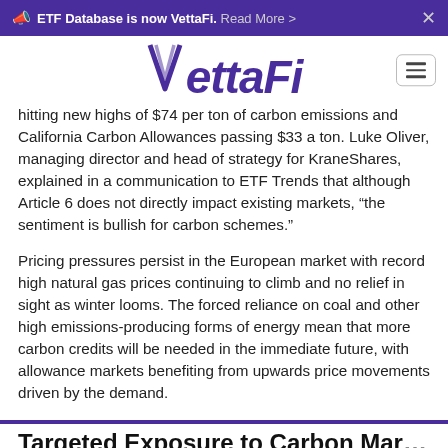ETF Database is now VettaFi. Read More >
[Figure (logo): VettaFi logo in purple with hamburger menu icon]
hitting new highs of $74 per ton of carbon emissions and California Carbon Allowances passing $33 a ton. Luke Oliver, managing director and head of strategy for KraneShares, explained in a communication to ETF Trends that although Article 6 does not directly impact existing markets, “the sentiment is bullish for carbon schemes.”
Pricing pressures persist in the European market with record high natural gas prices continuing to climb and no relief in sight as winter looms. The forced reliance on coal and other high emissions-producing forms of energy mean that more carbon credits will be needed in the immediate future, with allowance markets benefiting from upwards price movements driven by the demand.
Targeted Exposure to Carbon Market...